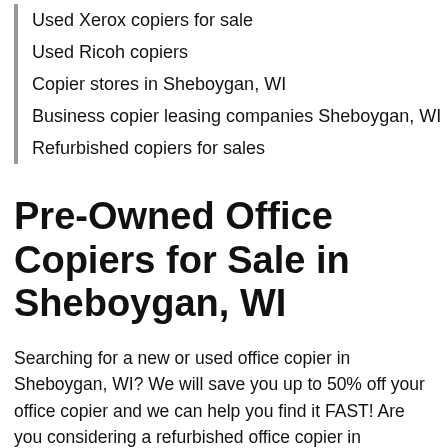Used Xerox copiers for sale
Used Ricoh copiers
Copier stores in Sheboygan, WI
Business copier leasing companies Sheboygan, WI
Refurbished copiers for sales
Pre-Owned Office Copiers for Sale in Sheboygan, WI
Searching for a new or used office copier in Sheboygan, WI? We will save you up to 50% off your office copier and we can help you find it FAST! Are you considering a refurbished office copier in Sheboygan, WI? Do you need a business copier for your small business? Compare our new 2021 copier price list and save time and money. It's easy, and you'll be glad you checked out our prices if your